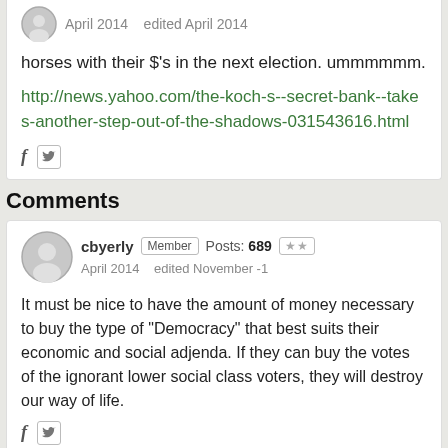horses with their $'s in the next election. ummmmmm.
http://news.yahoo.com/the-koch-s--secret-bank--takes-another-step-out-of-the-shadows-031543616.html
Comments
cbyerly Member Posts: 689 ★★ April 2014 edited November -1
It must be nice to have the amount of money necessary to buy the type of "Democracy" that best suits their economic and social adjenda. If they can buy the votes of the ignorant lower social class voters, they will destroy our way of life.